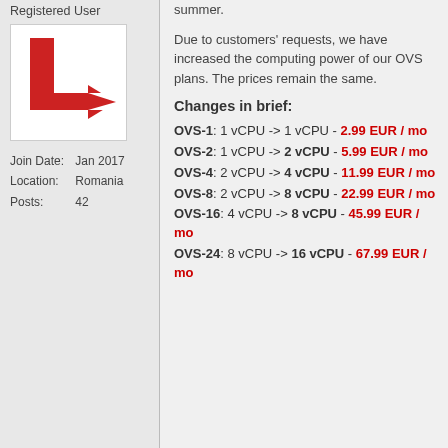Registered User
[Figure (logo): Red block letter L with arrow logo on white background]
Join Date: Jan 2017
Location: Romania
Posts: 42
summer.
Due to customers' requests, we have increased the computing power of our OVS plans. The prices remain the same.
Changes in brief:
OVS-1: 1 vCPU -> 1 vCPU - 2.99 EUR / mo
OVS-2: 1 vCPU -> 2 vCPU - 5.99 EUR / mo
OVS-4: 2 vCPU -> 4 vCPU - 11.99 EUR / mo
OVS-8: 2 vCPU -> 8 vCPU - 22.99 EUR / mo
OVS-16: 4 vCPU -> 8 vCPU - 45.99 EUR / mo
OVS-24: 8 vCPU -> 16 vCPU - 67.99 EUR / mo